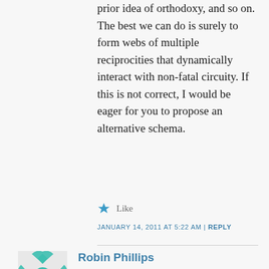prior idea of orthodoxy, and so on. The best we can do is surely to form webs of multiple reciprocities that dynamically interact with non-fatal circuity. If this is not correct, I would be eager for you to propose an alternative schema.
Like
JANUARY 14, 2011 AT 5:22 AM | REPLY
Robin Phillips
A few more thoughts on how the problems for determining a final